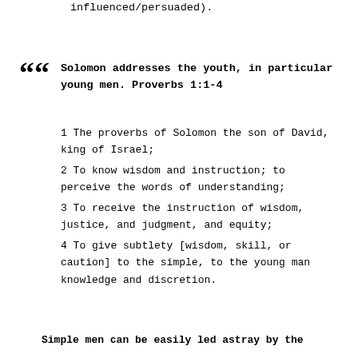influenced/persuaded).
Solomon addresses the youth, in particular young men. Proverbs 1:1-4
1 The proverbs of Solomon the son of David, king of Israel;
2 To know wisdom and instruction; to perceive the words of understanding;
3 To receive the instruction of wisdom, justice, and judgment, and equity;
4 To give subtlety [wisdom, skill, or caution] to the simple, to the young man knowledge and discretion.
Simple men can be easily led astray by the